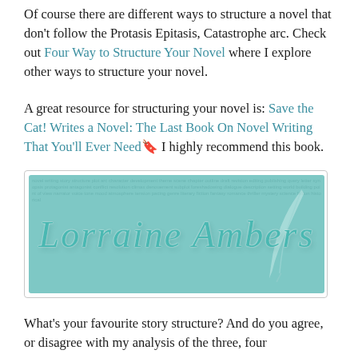Of course there are different ways to structure a novel that don't follow the Protasis Epitasis, Catastrophe arc. Check out Four Way to Structure Your Novel where I explore other ways to structure your novel.
A great resource for structuring your novel is: Save the Cat! Writes a Novel: The Last Book On Novel Writing That You'll Ever Need 🔖 I highly recommend this book.
[Figure (logo): Lorraine Ambers signature logo banner in teal/mint color with cursive script text and quill pen graphic in the background]
What's your favourite story structure? And do you agree, or disagree with my analysis of the three, four